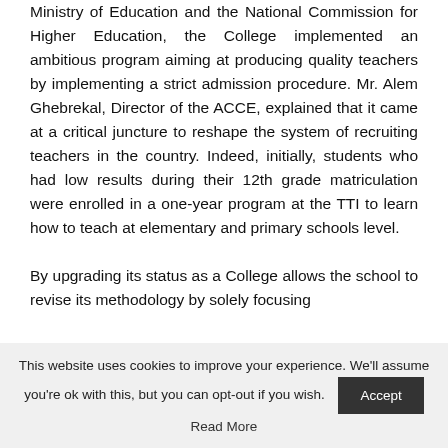Ministry of Education and the National Commission for Higher Education, the College implemented an ambitious program aiming at producing quality teachers by implementing a strict admission procedure. Mr. Alem Ghebrekal, Director of the ACCE, explained that it came at a critical juncture to reshape the system of recruiting teachers in the country. Indeed, initially, students who had low results during their 12th grade matriculation were enrolled in a one-year program at the TTI to learn how to teach at elementary and primary schools level.

By upgrading its status as a College allows the school to revise its methodology by solely focusing
This website uses cookies to improve your experience. We'll assume you're ok with this, but you can opt-out if you wish. Accept Read More